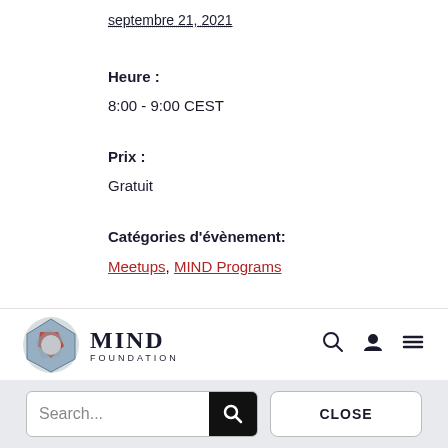septembre 21, 2021
Heure :
8:00 - 9:00 CEST
Prix :
Gratuit
Catégories d'évènement:
Meetups, MIND Programs
[Figure (logo): MIND Foundation logo with abstract blue/red/grey icon and text 'MIND FOUNDATION']
[Figure (other): Search bar with text 'Search...' and magnifying glass icon, plus CLOSE button]